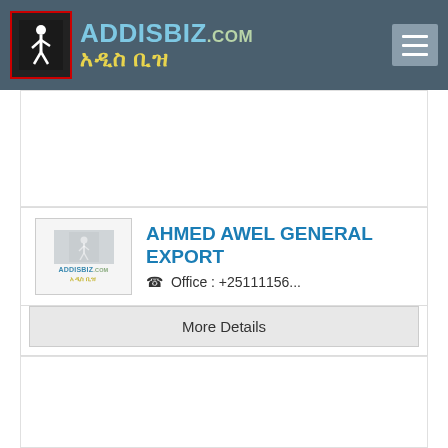ADDISBIZ.COM አዲስ ቢዝ
[Figure (other): Advertisement banner area (white/blank)]
AHMED AWEL GENERAL EXPORT
Office : +25111156...
More Details
[Figure (other): Second advertisement banner area (white/blank)]